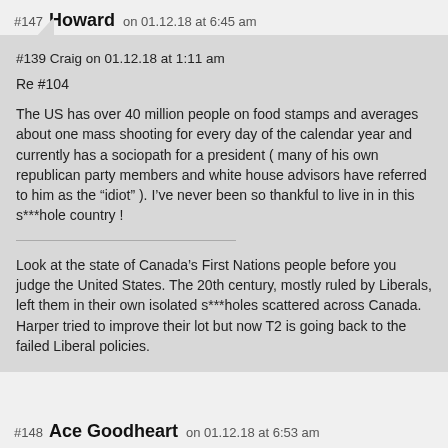#147 Howard on 01.12.18 at 6:45 am
#139 Craig on 01.12.18 at 1:11 am

Re #104

The US has over 40 million people on food stamps and averages about one mass shooting for every day of the calendar year and currently has a sociopath for a president ( many of his own republican party members and white house advisors have referred to him as the “idiot” ). I’ve never been so thankful to live in in this s***hole country !

Look at the state of Canada’s First Nations people before you judge the United States. The 20th century, mostly ruled by Liberals, left them in their own isolated s***holes scattered across Canada. Harper tried to improve their lot but now T2 is going back to the failed Liberal policies.
#148 Ace Goodheart on 01.12.18 at 6:53 am